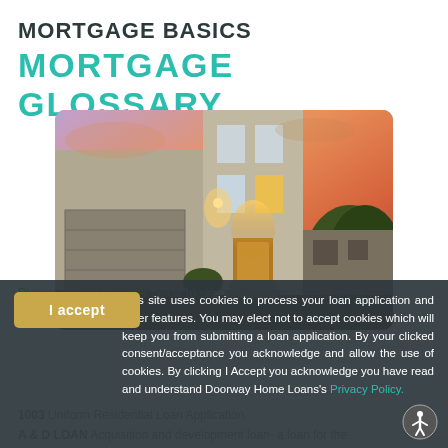MORTGAGE BASICS
MORTGAGE GLOSSARY
[Figure (photo): Modern two-story residential house exterior at dusk with warm lighting at the entrance and colorful sunset sky in the background.]
This site uses cookies to process your loan application and other features. You may elect not to accept cookies which will keep you from submitting a loan application. By your clicked consent/acceptance you acknowledge and allow the use of cookies. By clicking I Accept you acknowledge you have read and understand Doorway Home Loans's Privacy Policy.
Please click on the letter below to skip to information on the word you are looking for.
1003 Uniform Residential Loan Application.
A & D LOAN Acquisition and development loan- a loan for the